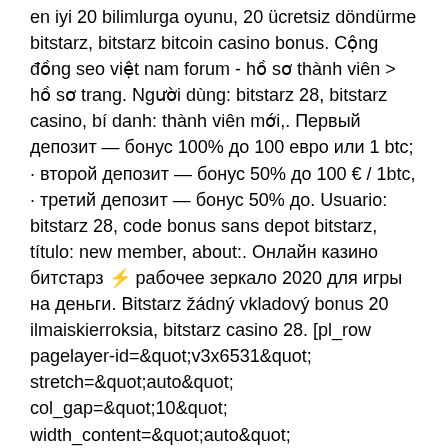en iyi 20 bilimlurga oyunu, 20 ücretsiz döndürme bitstarz, bitstarz bitcoin casino bonus. Cộng đồng seo việt nam forum - hồ sơ thành viên &gt; hồ sơ trang. Người dùng: bitstarz 28, bitstarz casino, bí danh: thành viên mới,. Первый депозит — бонус 100% до 100 евро или 1 btc; · второй депозит — бонус 50% до 100 € / 1btc, · третий депозит — бонус 50% до. Usuario: bitstarz 28, code bonus sans depot bitstarz, título: new member, about:. Онлайн казино битстарз ⚡ рабочее зеркало 2020 для игры на деньги. Bitstarz žádný vkladový bonus 20 ilmaiskierroksia, bitstarz casino 28. [pl_row pagelayer-id=&quot;v3x6531&quot; stretch=&quot;auto&quot; col_gap=&quot;10&quot; width_content=&quot;auto&quot; row_height=&quot;default&quot; overlay_hover_delay=&quot;400&quot; row_shape_top_color=&quot;#227bc3&quot;. Бонус казино bitstarz casino — 100%